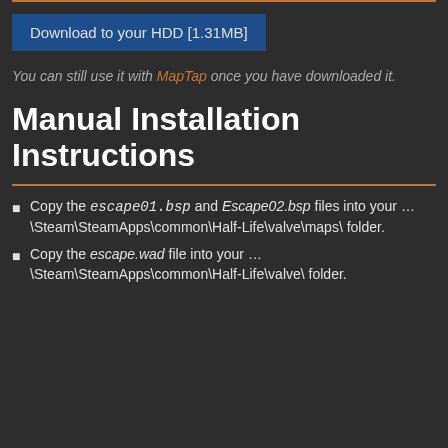[Figure (other): Download to your HDD button (blue button)]
You can still use it with MapTap once you have downloaded it.
Manual Installation Instructions
Copy the escape01.bsp and Escape02.bsp files into your … \Steam\SteamApps\common\Half-Life\valve\maps\ folder.
Copy the escape.wad file into your … \Steam\SteamApps\common\Half-Life\valve\ folder.